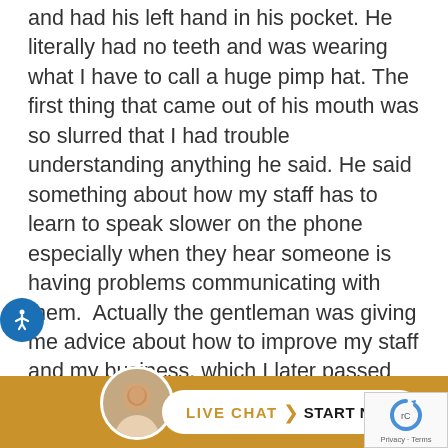and had his left hand in his pocket. He literally had no teeth and was wearing what I have to call a huge pimp hat. The first thing that came out of his mouth was so slurred that I had trouble understanding anything he said. He said something about how my staff has to learn to speak slower on the phone especially when they hear someone is having problems communicating with them.  Actually the gentleman was giving me advice about how to improve my staff and my business, which I later passed on to them because he was right.  I asked him if he had suffered from a stroke, because all his symptoms pointed in that direction, but came to find out that he had been hit by a car and suffered major head trauma which included surgery and that al
[Figure (screenshot): Live chat bar at bottom of page with avatar photo, LIVE CHAT > START NOW button in white pill shape on gold/amber background]